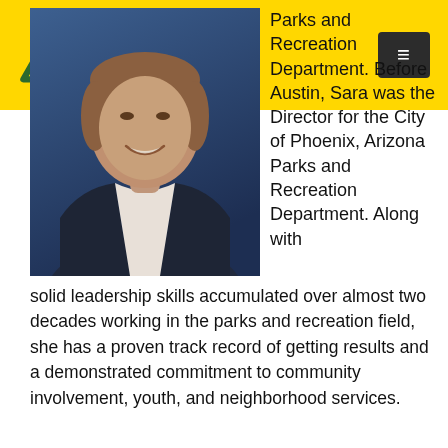[Logo: stylized A mark] [Menu button: ≡]
[Figure (photo): Headshot photo of a woman with short brown hair, smiling, wearing a dark striped blazer over a white shirt, against a dark blue background.]
Parks and Recreation Department. Before Austin, Sara was the Director for the City of Phoenix, Arizona Parks and Recreation Department. Along with solid leadership skills accumulated over almost two decades working in the parks and recreation field, she has a proven track record of getting results and a demonstrated commitment to community involvement, youth, and neighborhood services.